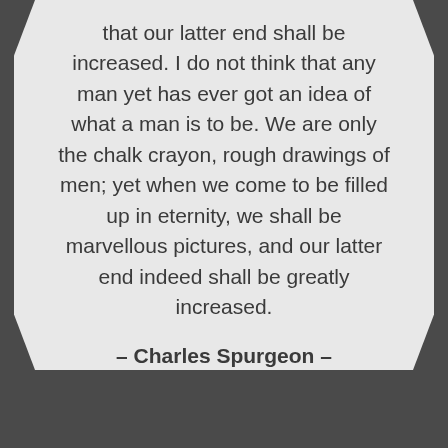that our latter end shall be increased. I do not think that any man yet has ever got an idea of what a man is to be. We are only the chalk crayon, rough drawings of men; yet when we come to be filled up in eternity, we shall be marvellous pictures, and our latter end indeed shall be greatly increased.
– Charles Spurgeon –